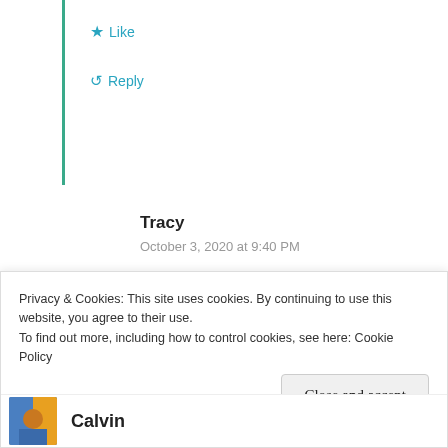★ Like
↺ Reply
Tracy
October 3, 2020 at 9:40 PM
Fantastic!! Of all the gin joints in all the towns in all the world... 🙂
★ Like
Privacy & Cookies: This site uses cookies. By continuing to use this website, you agree to their use.
To find out more, including how to control cookies, see here: Cookie Policy
Close and accept
Calvin